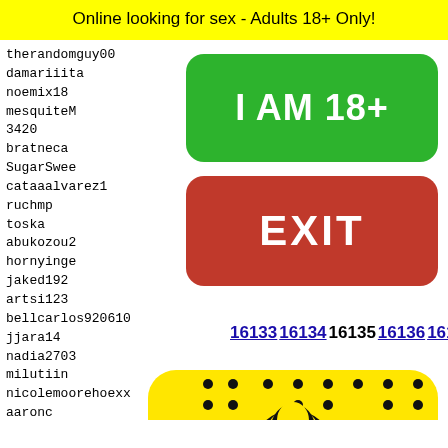Online looking for sex - Adults 18+ Only!
therandomguy00
damariiita
noemix18
mesquiteM
3420
bratneca
SugarSwee
cataaalvarez1
ruchmp
toska
abukozou2
hornyinge
jaked192
artsi123
bellcarlos920610
jjara14
nadia2703
milutiin
nicolemoorehoexx
aaronc
LilaM
rh2716
interi
cvizrn
laural
[Figure (infographic): Green button with text 'I AM 18+' and red button with text 'EXIT']
16133 16134 16135 16136 16137
[Figure (illustration): Snapchat ghost logo on yellow background with black dots pattern]